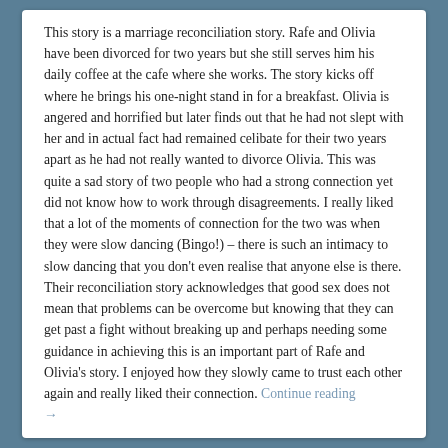This story is a marriage reconciliation story. Rafe and Olivia have been divorced for two years but she still serves him his daily coffee at the cafe where she works. The story kicks off where he brings his one-night stand in for a breakfast. Olivia is angered and horrified but later finds out that he had not slept with her and in actual fact had remained celibate for their two years apart as he had not really wanted to divorce Olivia. This was quite a sad story of two people who had a strong connection yet did not know how to work through disagreements. I really liked that a lot of the moments of connection for the two was when they were slow dancing (Bingo!) – there is such an intimacy to slow dancing that you don't even realise that anyone else is there. Their reconciliation story acknowledges that good sex does not mean that problems can be overcome but knowing that they can get past a fight without breaking up and perhaps needing some guidance in achieving this is an important part of Rafe and Olivia's story. I enjoyed how they slowly came to trust each other again and really liked their connection. Continue reading →